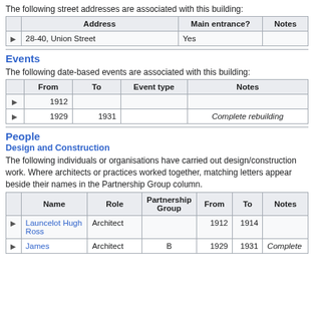The following street addresses are associated with this building:
|  | Address | Main entrance? | Notes |
| --- | --- | --- | --- |
| ▶ | 28-40, Union Street | Yes |  |
Events
The following date-based events are associated with this building:
|  | From | To | Event type | Notes |
| --- | --- | --- | --- | --- |
| ▶ | 1912 |  |  |  |
| ▶ | 1929 | 1931 |  | Complete rebuilding |
People
Design and Construction
The following individuals or organisations have carried out design/construction work. Where architects or practices worked together, matching letters appear beside their names in the Partnership Group column.
|  | Name | Role | Partnership Group | From | To | Notes |
| --- | --- | --- | --- | --- | --- | --- |
| ▶ | Launcelot Hugh Ross | Architect |  | 1912 | 1914 |  |
| ▶ | James | Architect | B | 1929 | 1931 | Complete |